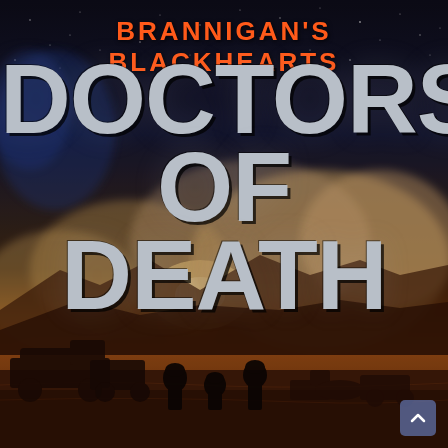[Figure (illustration): Book cover for 'Brannigan's Blackhearts: Doctors of Death'. Background shows a dramatic desert/battlefield scene with dust clouds, a bright explosion or light source in the middle distance, military vehicles and soldiers in silhouette in the foreground. Sky transitions from dark star-filled blue-black at top to warm orange-yellow at the horizon. Series title 'BRANNIGAN'S BLACKHEARTS' appears in orange at top, main title 'DOCTORS OF DEATH' in large silver/gray letters dominates the center.]
BRANNIGAN'S BLACKHEARTS DOCTORS OF DEATH